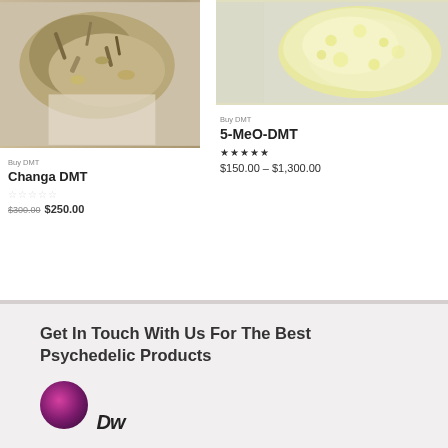[Figure (photo): Photo of Changa DMT - dried herb/plant material mixture on white background]
Buy DMT
Changa DMT
☆☆☆☆☆
$300.00 $250.00
[Figure (photo): Photo of 5-MeO-DMT - yellow crystalline/fluffy powder on white background]
Buy DMT
5-MeO-DMT
★★★★★
$150.00 – $1,300.00
Get In Touch With Us For The Best Psychedelic Products
[Figure (logo): Logo with purple mushroom icon and stylized italic text]